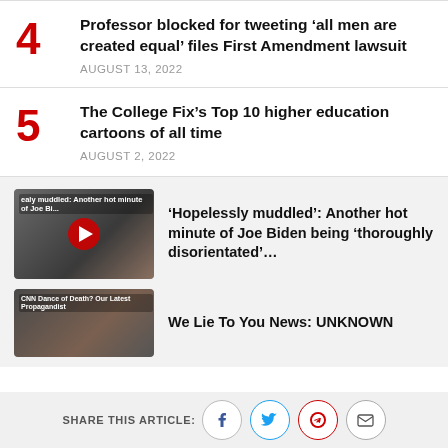4 Professor blocked for tweeting 'all men are created equal' files First Amendment lawsuit — AUGUST 13, 2022
5 The College Fix's Top 10 higher education cartoons of all time — AUGUST 2, 2022
[Figure (screenshot): Video thumbnail of Joe Biden in front of American flag, with red play button overlay and caption text 'peely muddled: Another hot minute of Joe Bi...']
'Hopelessly muddled': Another hot minute of Joe Biden being 'thoroughly disorientated'...
[Figure (screenshot): Video thumbnail with text 'CNN Dance of Death? Our Latest Propagandist']
We Lie To You News: UNKNOWN
SHARE THIS ARTICLE: